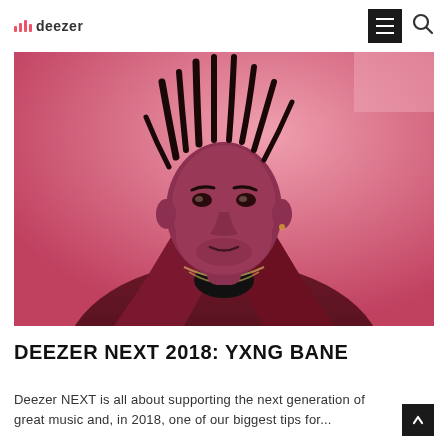deezer
[Figure (photo): A young Black man with dreadlocks wearing a black shirt and dark jacket, photographed against a pink background in a stylized promotional photo for Deezer NEXT 2018: Yxng Bane]
DEEZER NEXT 2018: YXNG BANE
Deezer NEXT is all about supporting the next generation of great music and, in 2018, one of our biggest tips for...